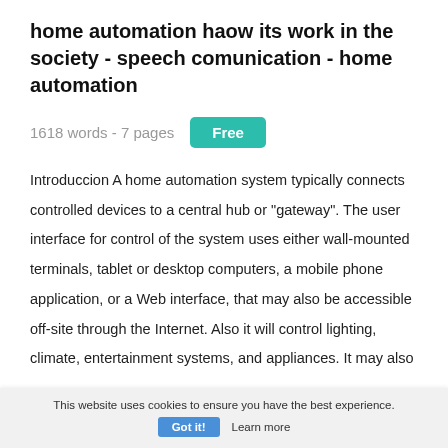home automation haow its work in the society - speech comunication - home automation
1618 words - 7 pages
Free
Introduccion A home automation system typically connects controlled devices to a central hub or "gateway". The user interface for control of the system uses either wall-mounted terminals, tablet or desktop computers, a mobile phone application, or a Web interface, that may also be accessible off-site through the Internet. Also it will control lighting, climate, entertainment systems, and appliances. It may also
This website uses cookies to ensure you have the best experience.
Got it!
Learn more